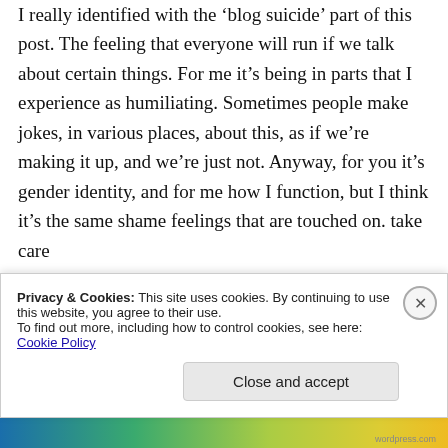I really identified with the 'blog suicide' part of this post. The feeling that everyone will run if we talk about certain things. For me it's being in parts that I experience as humiliating. Sometimes people make jokes, in various places, about this, as if we're making it up, and we're just not. Anyway, for you it's gender identity, and for me how I function, but I think it's the same shame feelings that are touched on. take care
Like
Privacy & Cookies: This site uses cookies. By continuing to use this website, you agree to their use. To find out more, including how to control cookies, see here: Cookie Policy
Close and accept